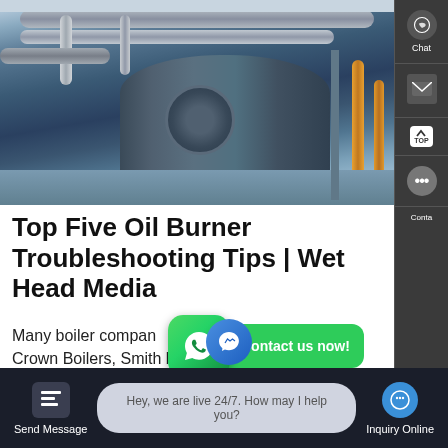[Figure (photo): Industrial boiler room with large cylindrical boiler, insulated pipes running overhead, orange/yellow gas pipes on the right wall, blue-tinted industrial floor environment]
Top Five Oil Burner Troubleshooting Tips | Wet Head Media
Many boiler companies like Weil McLain, Utica, Crown Boilers, Smith boilers and many common burner brands
[Figure (screenshot): WhatsApp icon with green background and phone/chat symbol, alongside green 'Contact us now!' button]
Hey, we are live 24/7. How may I help you?
Send Message
Inquiry Online